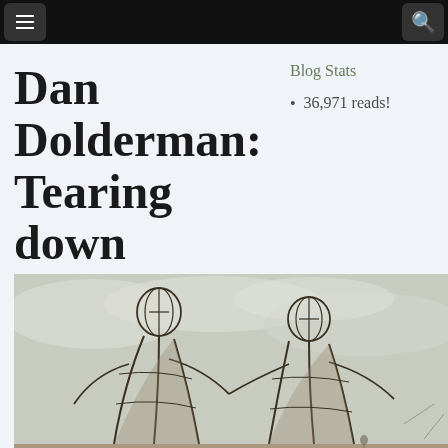Navigation bar with menu and search icons
Dan Dolderman: Tearing down the Wall
Healing the Self, Healing the World
Blog Stats
36,971 reads!
[Figure (photo): Wire frame sculpture of two human figures leaning toward each other, set against a cloudy sky on a flat desert landscape (Burning Man art installation)]